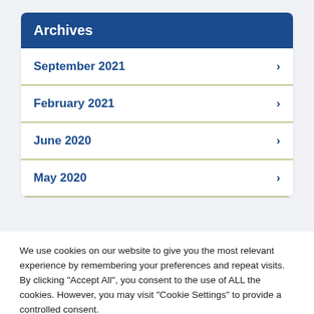Archives
September 2021
February 2021
June 2020
May 2020
We use cookies on our website to give you the most relevant experience by remembering your preferences and repeat visits. By clicking "Accept All", you consent to the use of ALL the cookies. However, you may visit "Cookie Settings" to provide a controlled consent.
Cookie Settings | Accept All